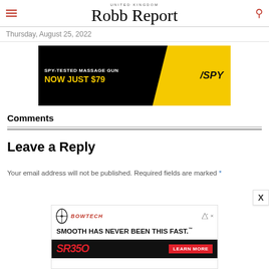UNITED KINGDOM Robb Report
Thursday, August 25, 2022
[Figure (photo): Advertisement: SPY-TESTED MASSAGE GUN NOW JUST $79 - SPY brand ad with yellow and black design]
Comments
Leave a Reply
Your email address will not be published. Required fields are marked *
[Figure (photo): Advertisement: Bowtech SR350 - SMOOTH HAS NEVER BEEN THIS FAST. LEARN MORE]